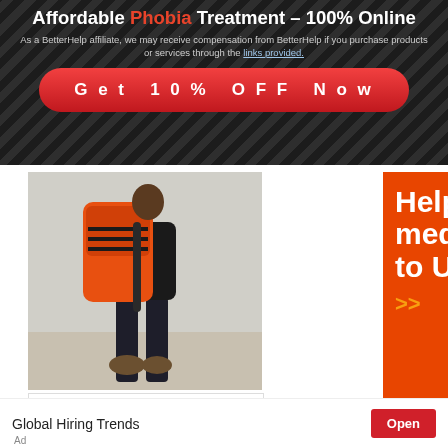Affordable Phobia Treatment – 100% Online
As a BetterHelp affiliate, we may receive compensation from BetterHelp if you purchase products or services through the links provided.
Get 10% OFF Now
[Figure (photo): Person from behind carrying large orange and black medical backpack, walking on pavement]
[Figure (logo): Direct Relief logo - orange leaf/figure icon with orange text 'Direct Relief']
[Figure (infographic): Orange vertical ad banner reading 'Help send medical aid to Ukraine' with orange double-arrow and Direct Relief logo at bottom]
Global Hiring Trends
Open
Ad